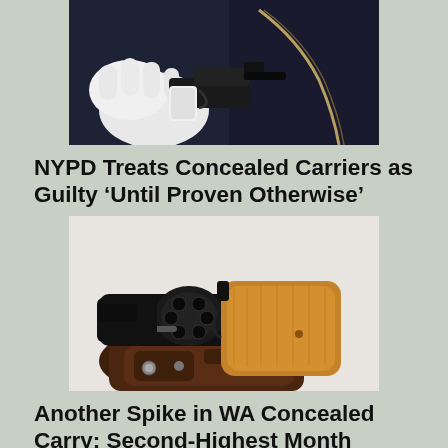[Figure (photo): A gloved hand holding a small black pistol being placed into or removed from a dark bag with a zipper]
NYPD Treats Concealed Carriers as Guilty ‘Until Proven Otherwise’
[Figure (photo): A small black snub-nose revolver resting on a brown leather holster on a white surface]
Another Spike in WA Concealed Carry; Second-Highest Month Since 2013